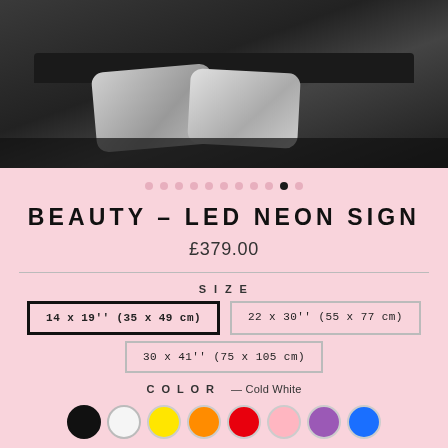[Figure (photo): Grayscale photo of a bed with pillows against a dark headboard and dark background]
BEAUTY – LED NEON SIGN
£379.00
SIZE
14 x 19" (35 x 49 cm) [selected]
22 x 30'' (55 x 77 cm)
30 x 41'' (75 x 105 cm)
COLOR — Cold White
[Figure (illustration): Row of color swatches: black, white, yellow, orange, red, pink, purple, blue]